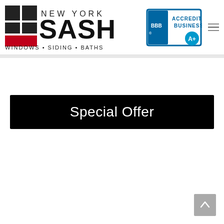[Figure (logo): New York Sash logo with window icon graphic and text 'NEW YORK SASH WINDOWS • SIDING • BATHS']
[Figure (logo): BBB Accredited Business A+ badge]
Special Offer
[Figure (other): Scroll-to-top arrow button in gray]